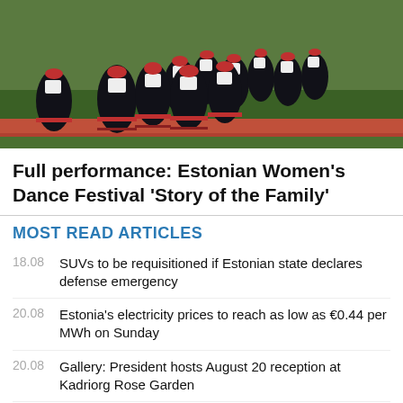[Figure (photo): Women in traditional Estonian folk costumes (black, white, and red) dancing on a green field with a red running track visible, viewed from behind and side]
Full performance: Estonian Women's Dance Festival 'Story of the Family'
MOST READ ARTICLES
18.08 SUVs to be requisitioned if Estonian state declares defense emergency
20.08 Estonia's electricity prices to reach as low as €0.44 per MWh on Sunday
20.08 Gallery: President hosts August 20 reception at Kadriorg Rose Garden
20.08 Narva attempting a... streets named for local Com...
[Figure (other): TOP button overlay with upward caret arrow]